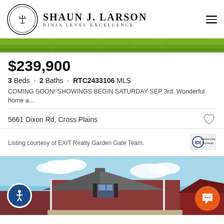[Figure (logo): Shaun J. Larson Ninja Level Excellence logo with circular emblem and hamburger menu icon]
[Figure (photo): Narrow horizontal strip showing green grass lawn]
$239,900
3 Beds · 2 Baths · RTC2433106 MLS
COMING SOON! SHOWINGS BEGIN SATURDAY SEP 3rd. Wonderful home a...
5661 Dixon Rd, Cross Plains
Listing courtesy of EXIT Realty Garden Gate Team.
[Figure (photo): Exterior photo of a red brick ranch-style house under blue sky with white clouds, green lawn visible at bottom]